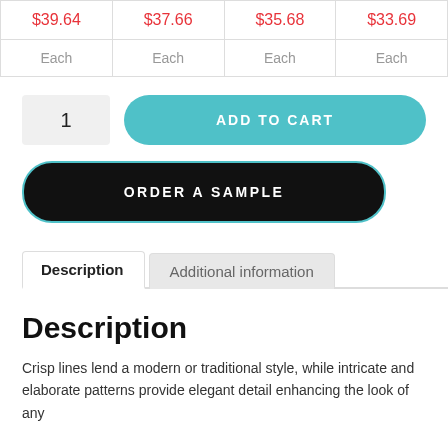|  |  |  |  |
| --- | --- | --- | --- |
| $39.64 | $37.66 | $35.68 | $33.69 |
| Each | Each | Each | Each |
1
ADD TO CART
ORDER A SAMPLE
Description
Additional information
Description
Crisp lines lend a modern or traditional style, while intricate and elaborate patterns provide elegant detail enhancing the look of any